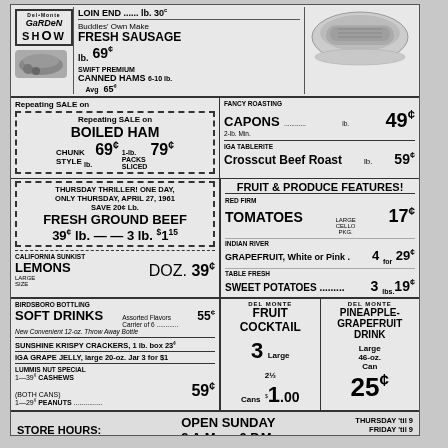LOIN END ...... lb. 30¢
[Figure (logo): Del Monte Garden Show logo]
Buddies' Own Make FRESH SAUSAGE lb. 69¢
SWIFT PREMIUM CANNED HAMS 65¢
Repeating SALE on BOILED HAM CHUNK STYLE lb. 69¢ 1-lb. PACKS SLICED 79¢
FANCY ROASTING CAPONS 2-lb. Min. lb. 49¢
IGA TABLERITE Crosscut Beef Roast lb. 59¢
THURSDAY THRILLER! ONE DAY, ONLY THURSDAY, APRIL 27, 1961 SAVE 20¢ Lb. FRESH GROUND BEEF 39¢ lb. — — 3 lb. $1.15
CALIFORNIA SUNKIST LEMONS LARGE SIZE DOZ. 39¢
FRUIT & PRODUCE FEATURES!
RED FIRM TOMATOES LARGE CELLO PKG. 17¢
INDIAN RIVER GRAPEFRUIT, White or Pink 4 for 29¢
TABLE FRESH SWEET POTATOES 3 lbs. 19¢
BIRDSBORO BOTTLING SOFT DRINKS Assorted Flavors Carrier of 6 55¢ New Convenient 12-oz. Throw Away Bottle
SUNSHINE KRISPY CRACKERS, 1 lb. box 23¢
IGA GRAPE JELLY, large 20-oz. Jar 3 for $1
LUMMIS NUT SPECIAL 1—39¢ CASHEWS (BOTH CANS) 59¢ 1—29¢ PEANUTS
DEL MONTE FRUIT COCKTAIL 3 Large 2½ Cans $1.00
DEL MONTE PINEAPPLE-GRAPEFRUIT DRINK Large 46-oz. Can 25¢
STORE HOURS: OPEN SUNDAY 9 A.M. — 6 P.M. THURSDAY 'til 9 FRIDAY 'til 9 SATURDAY 'til 6
BUDDIES' SUPER MARKET
Route 83   VINCENT SHOPPING CENTER   Spring City